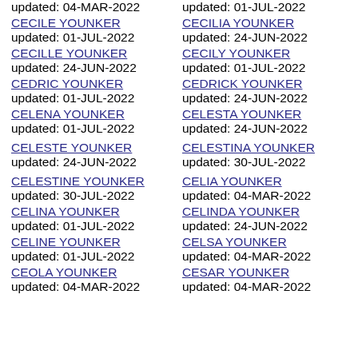updated: 04-MAR-2022
CECILE YOUNKER updated: 01-JUL-2022
CECILLE YOUNKER updated: 24-JUN-2022
CEDRIC YOUNKER updated: 01-JUL-2022
CELENA YOUNKER updated: 01-JUL-2022
CELESTE YOUNKER updated: 24-JUN-2022
CELESTINE YOUNKER updated: 30-JUL-2022
CELINA YOUNKER updated: 01-JUL-2022
CELINE YOUNKER updated: 01-JUL-2022
CEOLA YOUNKER updated: 04-MAR-2022
updated: 01-JUL-2022
CECILIA YOUNKER updated: 24-JUN-2022
CECILY YOUNKER updated: 01-JUL-2022
CEDRICK YOUNKER updated: 24-JUN-2022
CELESTA YOUNKER updated: 24-JUN-2022
CELESTINA YOUNKER updated: 30-JUL-2022
CELIA YOUNKER updated: 04-MAR-2022
CELINDA YOUNKER updated: 24-JUN-2022
CELSA YOUNKER updated: 04-MAR-2022
CESAR YOUNKER updated: 04-MAR-2022